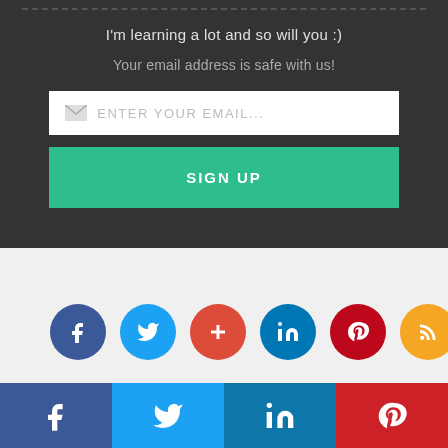I'm learning a lot and so will you :)
Your email address is safe with us!
[Figure (screenshot): Email input field with envelope icon and placeholder text 'ENTER YOUR EMAIL...']
[Figure (screenshot): Green SIGN UP button]
[Figure (infographic): Row of six circular social media icons: Facebook (dark blue), Twitter (light blue), Google Plus (red), LinkedIn (teal blue), Pinterest (dark red), RSS (orange)]
Popular Posts
[Figure (infographic): Bottom share bar with four sections: Facebook (dark blue), Twitter (light blue), LinkedIn (medium blue), Pinterest (red), each showing the respective social media icon in white]